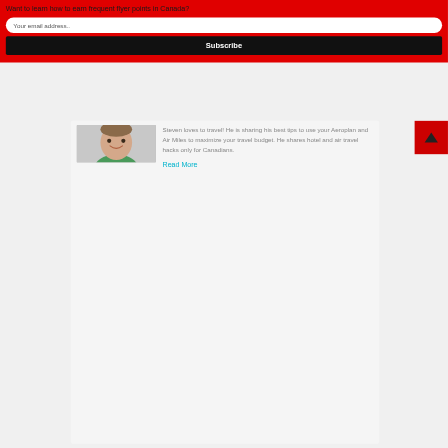Want to learn how to earn frequent flyer points in Canada?
Your email address..
Subscribe
[Figure (photo): Profile photo of a smiling man in a green shirt]
Steven loves to travel! He is sharing his best tips to use your Aeroplan and Air Miles to maximize your travel budget. He shares hotel and air travel hacks only for Canadians.
Read More